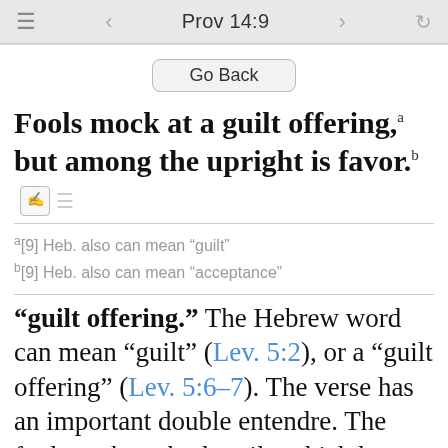Prov 14:9
Go Back
Fools mock at a guilt offering,a but among the upright is favor.b
a[9] Heb. also can mean “guilt”
b[9] Heb. also can mean “acceptance”
“guilt offering.” The Hebrew word can mean “guilt” (Lev. 5:2), or a “guilt offering” (Lev. 5:6-7). The verse has an important double entendre. The fool mocks at both guilt, which he denies, and the guilt offering that